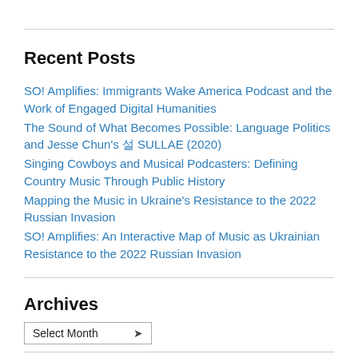Recent Posts
SO! Amplifies: Immigrants Wake America Podcast and the Work of Engaged Digital Humanities
The Sound of What Becomes Possible: Language Politics and Jesse Chun's 설 SULLAE (2020)
Singing Cowboys and Musical Podcasters: Defining Country Music Through Public History
Mapping the Music in Ukraine's Resistance to the 2022 Russian Invasion
SO! Amplifies: An Interactive Map of Music as Ukrainian Resistance to the 2022 Russian Invasion
Archives
Select Month